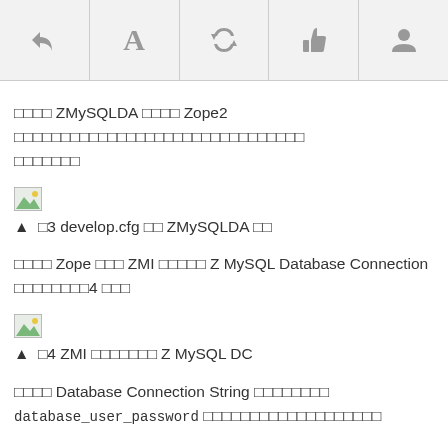[toolbar icons: reply, A, share, thumbs-up, user]
□□□□ ZMySQLDA □□□□ Zope2 □□□□□□□□□□□□□□□□□□□□□□□□□□□□□□□
[Figure (screenshot): Broken image icon]
▲  □3 develop.cfg □□ ZMySQLDA □□
□□□□ Zope □□□ ZMI □□□□□ Z MySQL Database Connection □□□□□□□□4 □□□
[Figure (screenshot): Broken image icon]
▲  □4 ZMI □□□□□□□ Z MySQL DC
□□□□ Database Connection String □□□□□□□□ database_user_password □□□□□□□□□□□□□□□□□